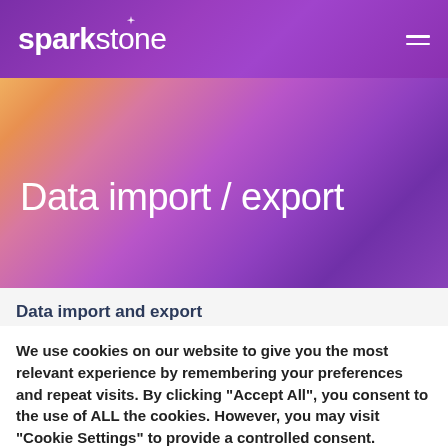sparkstone
Data import / export
Data import and export
We use cookies on our website to give you the most relevant experience by remembering your preferences and repeat visits. By clicking “Accept All”, you consent to the use of ALL the cookies. However, you may visit “Cookie Settings” to provide a controlled consent.